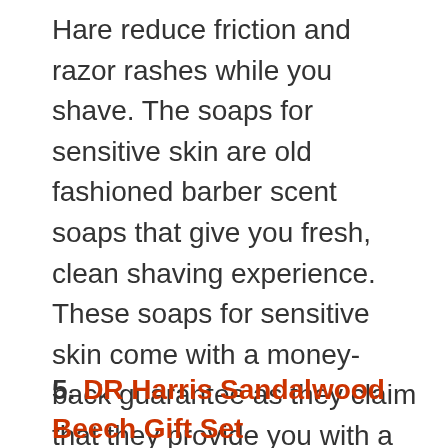Hare reduce friction and razor rashes while you shave. The soaps for sensitive skin are old fashioned barber scent soaps that give you fresh, clean shaving experience. These soaps for sensitive skin come with a money-back guarantee as they claim that they provide you with a shaving experience rather than a hassle shaving.
5. DR Harris Sandalwood Beech Gift Set